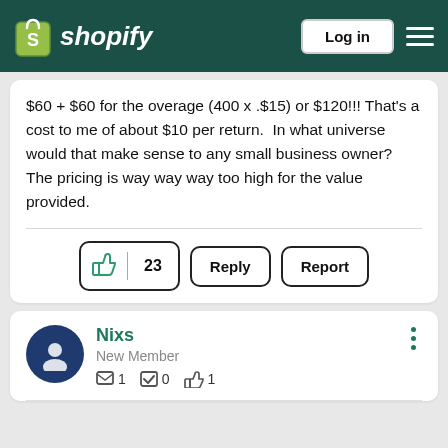shopify — Log in
$60 + $60 for the overage (400 x .$15) or $120!!! That's a cost to me of about $10 per return.  In what universe would that make sense to any small business owner?  The pricing is way way way too high for the value provided.
👍 23  Reply  Report
Nixs — New Member — 1 0 1